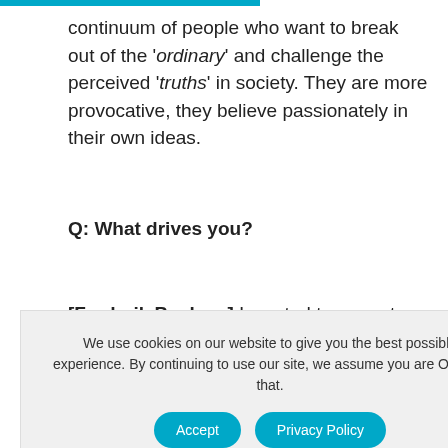continuum of people who want to break out of the 'ordinary' and challenge the perceived 'truths' in society.  They are more provocative, they believe passionately in their own ideas.
Q: What drives you?
[Frederik Paulsen] I wanted to prove to my parents that I could take this company they had started. and develop it into something
We use cookies on our website to give you the best possible experience. By continuing to use our site, we assume you are OK with that.
believed that you, Frederik, out of all my